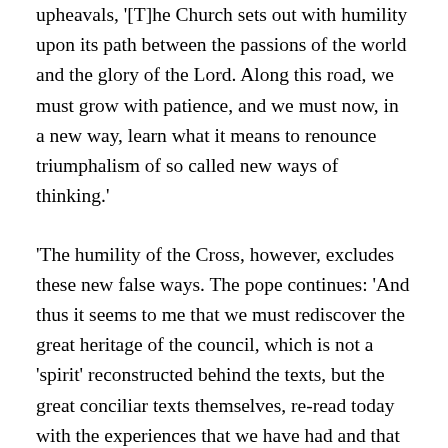upheavals, '[T]he Church sets out with humility upon its path between the passions of the world and the glory of the Lord. Along this road, we must grow with patience, and we must now, in a new way, learn what it means to renounce triumphalism of so called new ways of thinking.'
'The humility of the Cross, however, excludes these new false ways. The pope continues: 'And thus it seems to me that we must rediscover the great heritage of the council, which is not a 'spirit' reconstructed behind the texts, but the great conciliar texts themselves, re-read today with the experiences that we have had and that have born